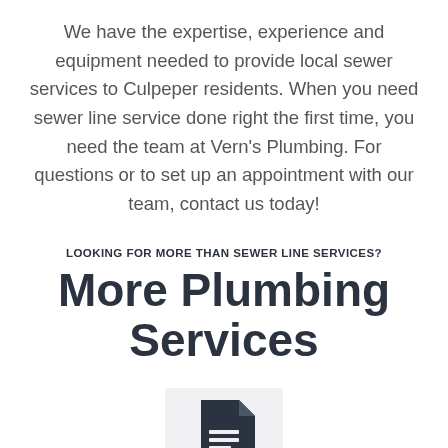We have the expertise, experience and equipment needed to provide local sewer services to Culpeper residents. When you need sewer line service done right the first time, you need the team at Vern's Plumbing. For questions or to set up an appointment with our team, contact us today!
LOOKING FOR MORE THAN SEWER LINE SERVICES?
More Plumbing Services
[Figure (illustration): Document/list icon — a dark navy page with horizontal lines representing text, set on a light grey rounded rectangle background.]